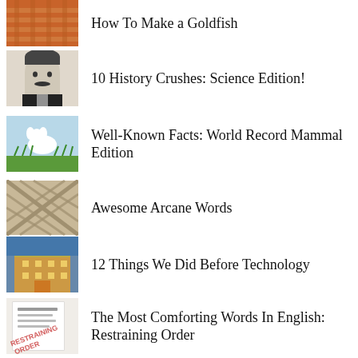How To Make a Goldfish
10 History Crushes: Science Edition!
Well-Known Facts: World Record Mammal Edition
Awesome Arcane Words
12 Things We Did Before Technology
The Most Comforting Words In English: Restraining Order
Would I Survive No Internet for a Whole Month?
The Request Line Part 2